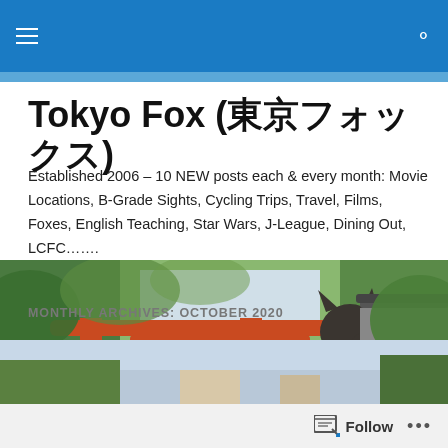Tokyo Fox (東京フォックス) – Navigation bar
Tokyo Fox (東京フォックス)
Established 2006 – 10 NEW posts each & every month: Movie Locations, B-Grade Sights, Cycling Trips, Travel, Films, Foxes, English Teaching, Star Wars, J-League, Dining Out, LCFC…….
[Figure (photo): Wide banner photo of a red torii gate at a Japanese shrine with a stone fox statue wearing a red bib in the foreground and green trees in the background]
MONTHLY ARCHIVES: OCTOBER 2020
[Figure (photo): Partial article thumbnail image, mostly obscured by the follow bar]
Follow  •••